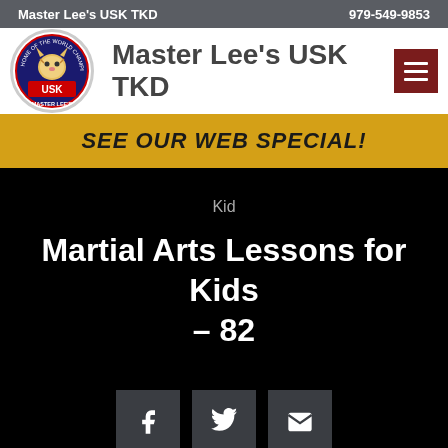Master Lee's USK TKD   979-549-9853
[Figure (logo): Master Lee's USK Tae Kwon Do circular logo with tiger]
Master Lee's USK TKD
SEE OUR WEB SPECIAL!
Kid
Martial Arts Lessons for Kids – 82
[Figure (infographic): Social sharing buttons: Facebook, Twitter, Email]